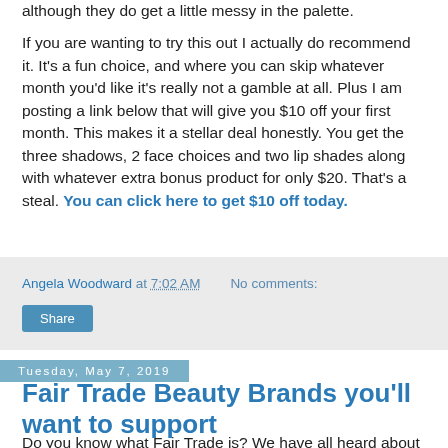although they do get a little messy in the palette.
If you are wanting to try this out I actually do recommend it. It's a fun choice, and where you can skip whatever month you'd like it's really not a gamble at all. Plus I am posting a link below that will give you $10 off your first month. This makes it a stellar deal honestly. You get the three shadows, 2 face choices and two lip shades along with whatever extra bonus product for only $20. That's a steal. You can click here to get $10 off today.
Angela Woodward at 7:02 AM   No comments:
Share
Tuesday, May 7, 2019
Fair Trade Beauty Brands you'll want to support
Do you know what Fair Trade is? We have all heard about